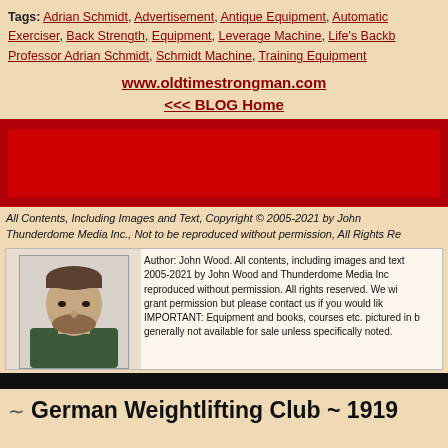Tags: Adrian Schmidt, Advertisement, Antique Equipment, Automatic Exerciser, Back Strength, Equipment, Leverage Machine, Life's Backb[one], Professor Adrian Schmidt, Schmidt Machine, Training Equipment
www.oldtimestrongman.com
<<< BLOG Home
[Figure (other): Red advertisement banner with dark red gradient background]
All Contents, Including Images and Text, Copyright © 2005-2021 by John Thunderdome Media Inc., Not to be reproduced without permission, All Rights Re[served]
[Figure (photo): Photo of a man with a beard wearing a dark green shirt]
Author: John Wood. All contents, including images and text 2005-2021 by John Wood and Thunderdome Media Inc. reproduced without permission. All rights reserved. We wi[ll] grant permission but please contact us if you would lik[e]. IMPORTANT: Equipment and books, courses etc. pictured in b[log] generally not available for sale unless specifically noted.
German Weightlifting Club ~ 1919